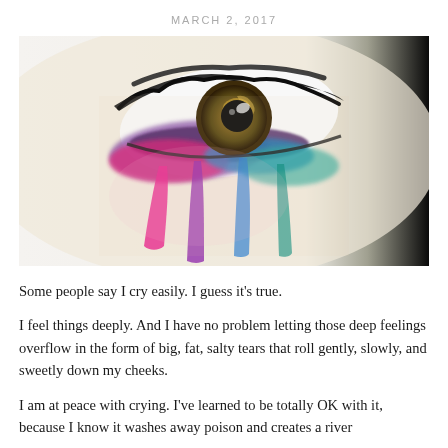MARCH 2, 2017
[Figure (illustration): Watercolor-style illustration of a close-up eye with colorful (pink, purple, blue, teal) tears/makeup running down, against a half-white half-black background]
Some people say I cry easily. I guess it’s true.
I feel things deeply. And I have no problem letting those deep feelings overflow in the form of big, fat, salty tears that roll gently, slowly, and sweetly down my cheeks.
I am at peace with crying. I’ve learned to be totally OK with it, because I know it washes away poison and creates a river